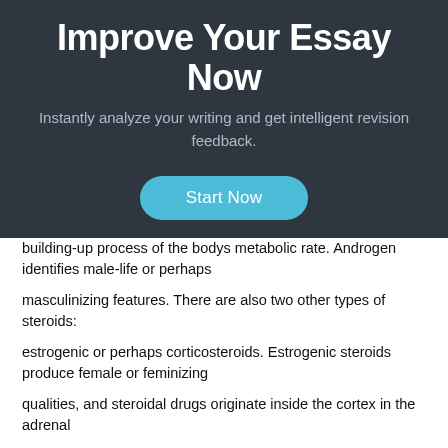[Figure (screenshot): Dark banner with heading 'Improve Your Essay Now', subtitle 'Instantly analyze your writing and get intelligent revision feedback.', and a 'Start Now' button.]
building-up process of the bodys metabolic rate. Androgen identifies male-life or perhaps
masculinizing features. There are also two other types of steroids:
estrogenic or perhaps corticosteroids. Estrogenic steroids produce female or feminizing
qualities, and steroidal drugs originate inside the cortex in the adrenal
glands and have a shrinking impact. The latter is utilized to treat cells stress.